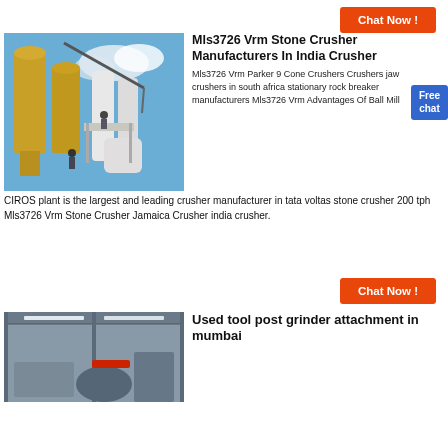[Figure (other): Orange 'Chat Now !' button at top right]
[Figure (photo): Industrial crushing plant with large white cylindrical mills and yellow silos under blue sky, workers visible on structure]
Mls3726 Vrm Stone Crusher Manufacturers In India Crusher
Mls3726 Vrm Parker 9 Cone Crushers Crushers jaw crushers in south africa stationary rock breaker manufacturers Mls3726 Vrm Advantages Of Ball Mill
CIROS plant is the largest and leading crusher manufacturer in tata voltas stone crusher 200 tph Mls3726 Vrm Stone Crusher Jamaica Crusher india crusher.
[Figure (other): Orange 'Chat Now !' button in middle right]
[Figure (photo): Interior of industrial facility showing machinery and equipment under roof]
Used tool post grinder attachment in mumbai